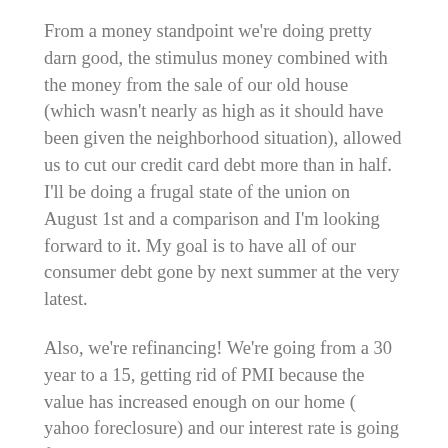From a money standpoint we're doing pretty darn good, the stimulus money combined with the money from the sale of our old house (which wasn't nearly as high as it should have been given the neighborhood situation), allowed us to cut our credit card debt more than in half. I'll be doing a frugal state of the union on August 1st and a comparison and I'm looking forward to it. My goal is to have all of our consumer debt gone by next summer at the very latest.
Also, we're refinancing! We're going from a 30 year to a 15, getting rid of PMI because the value has increased enough on our home ( yahoo foreclosure) and our interest rate is going from 3.875 to 2.75 (and 0 points as closing).
From a general well being stand point, the exercise of limiting trips to the grocery store, and then going to the